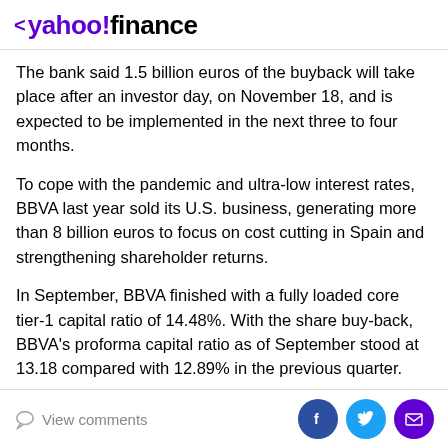< yahoo!finance
The bank said 1.5 billion euros of the buyback will take place after an investor day, on November 18, and is expected to be implemented in the next three to four months.
To cope with the pandemic and ultra-low interest rates, BBVA last year sold its U.S. business, generating more than 8 billion euros to focus on cost cutting in Spain and strengthening shareholder returns.
In September, BBVA finished with a fully loaded core tier-1 capital ratio of 14.48%. With the share buy-back, BBVA's proforma capital ratio as of September stood at 13.18 compared with 12.89% in the previous quarter.
View comments